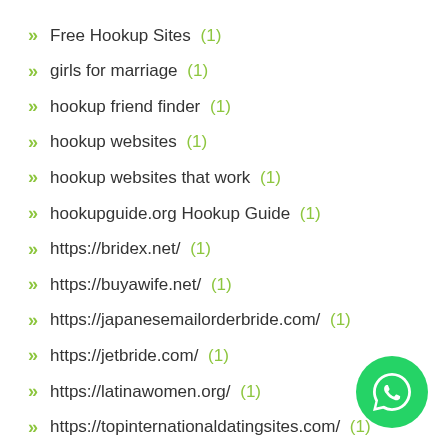Free Hookup Sites (1)
girls for marriage (1)
hookup friend finder (1)
hookup websites (1)
hookup websites that work (1)
hookupguide.org Hookup Guide (1)
https://bridex.net/ (1)
https://buyawife.net/ (1)
https://japanesemailorderbride.com/ (1)
https://jetbride.com/ (1)
https://latinawomen.org/ (1)
https://topinternationaldatingsites.com/ (1)
[Figure (logo): WhatsApp floating button icon]